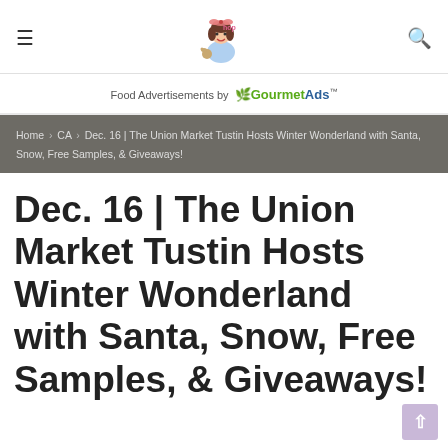≡ [logo] 🔍
Food Advertisements by GourmetAds™
Home > CA > Dec. 16 | The Union Market Tustin Hosts Winter Wonderland with Santa, Snow, Free Samples, & Giveaways!
Dec. 16 | The Union Market Tustin Hosts Winter Wonderland with Santa, Snow, Free Samples, & Giveaways!